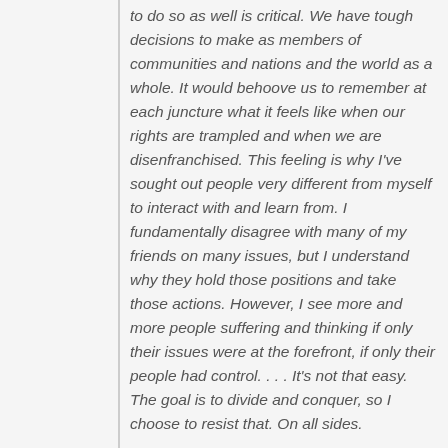to do so as well is critical. We have tough decisions to make as members of communities and nations and the world as a whole. It would behoove us to remember at each juncture what it feels like when our rights are trampled and when we are disenfranchised. This feeling is why I've sought out people very different from myself to interact with and learn from. I fundamentally disagree with many of my friends on many issues, but I understand why they hold those positions and take those actions. However, I see more and more people suffering and thinking if only their issues were at the forefront, if only their people had control. . . . It's not that easy. The goal is to divide and conquer, so I choose to resist that. On all sides.